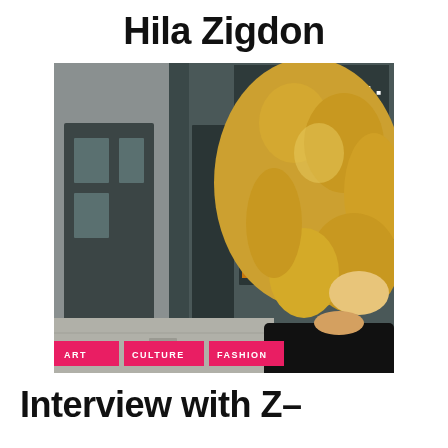Hila Zigdon
[Figure (photo): Photo of a woman with curly blonde hair standing in front of the ZCRAVE: fashion store facade. The store has a dark grey exterior with a window display showing colorful garments. Tags at the bottom show ART, CULTURE, FASHION categories.]
ART   CULTURE   FASHION
Interview with Z-